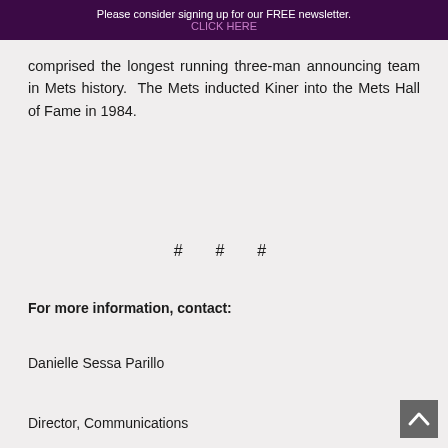Please consider signing up for our FREE newsletter.
CLICK HERE
comprised the longest running three-man announcing team in Mets history.  The Mets inducted Kiner into the Mets Hall of Fame in 1984.
# # #
For more information, contact:
Danielle Sessa Parillo
Director, Communications